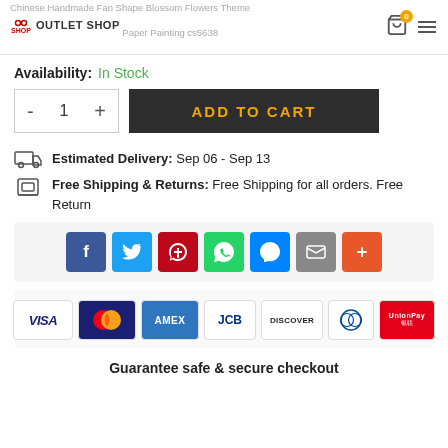Chinese Handmade Fan Shape Blossom Flowers Theme Paper Painting cs5638 - OUTLET SHOP
Availability: In Stock
ADD TO CART
Estimated Delivery: Sep 06 - Sep 13
Free Shipping & Returns: Free Shipping for all orders. Free Return
[Figure (other): Social share buttons: Facebook, Twitter, Pinterest, WhatsApp, Messenger, Email, More]
[Figure (other): Payment method logos: VISA, Mastercard, AMEX, JCB, Discover, Diners Club, UnionPay]
Guarantee safe & secure checkout